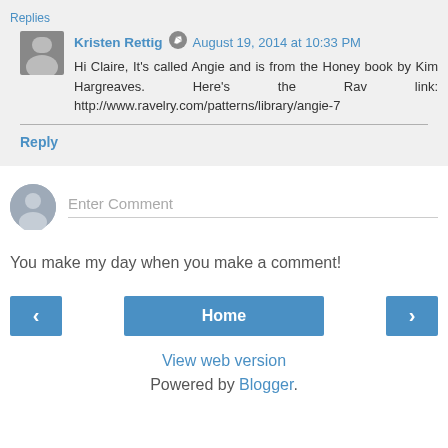Replies
Kristen Rettig  August 19, 2014 at 10:33 PM
Hi Claire, It's called Angie and is from the Honey book by Kim Hargreaves. Here's the Rav link: http://www.ravelry.com/patterns/library/angie-7
Reply
Enter Comment
You make my day when you make a comment!
Home
View web version
Powered by Blogger.